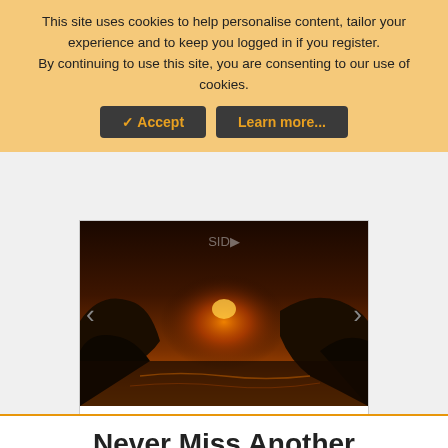This site uses cookies to help personalise content, tailor your experience and to keep you logged in if you register.
By continuing to use this site, you are consenting to our use of cookies.
✓ Accept | Learn more...
[Figure (screenshot): Advertisement banner showing a sunset over rocky coastal landscape with navigation arrows, headline 'DISCOVER AMAZING TRAVEL SIDESTAGE.COM', ezoic branding, and 'report this ad' link]
Never Miss Another